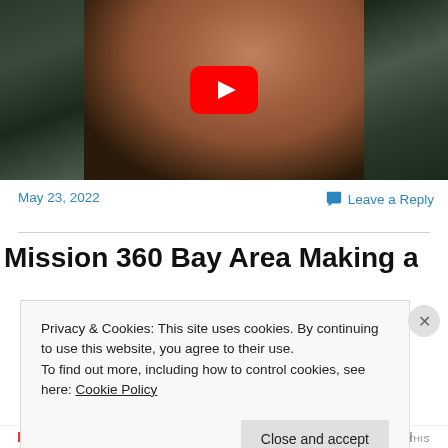[Figure (screenshot): YouTube video thumbnail showing a woman in a black outfit with a choker necklace, with a red YouTube play button overlay in the center, against a dark blurred background.]
May 23, 2022
Leave a Reply
Mission 360 Bay Area Making a
Privacy & Cookies: This site uses cookies. By continuing to use this website, you agree to their use.
To find out more, including how to control cookies, see here: Cookie Policy
Close and accept